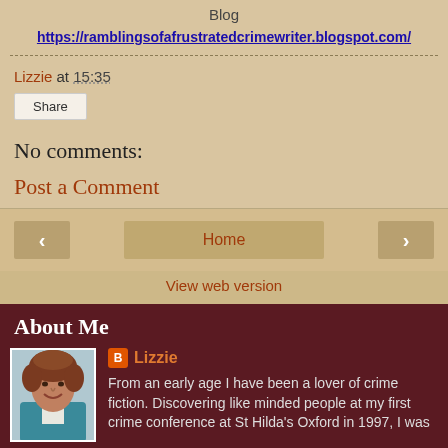Blog
https://ramblingsofafrustratedcrimewriter.blogspot.com/
Lizzie at 15:35
Share
No comments:
Post a Comment
Home
View web version
About Me
[Figure (photo): Profile photo of Lizzie, a woman with brown curly hair wearing a teal/blue jacket, smiling]
Lizzie
From an early age I have been a lover of crime fiction. Discovering like minded people at my first crime conference at St Hilda's Oxford in 1997, I was